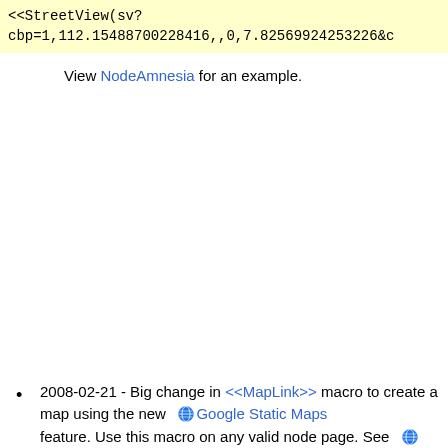<<StreetView(sv?cbp=1,112.15488700228416,,0,7.82569924253226&amp;c
View NodeAmnesia for an example.
2008-02-21 - Big change in <<MapLink>> macro to create a map using the new Google Static Maps feature. Use this macro on any valid node page. See